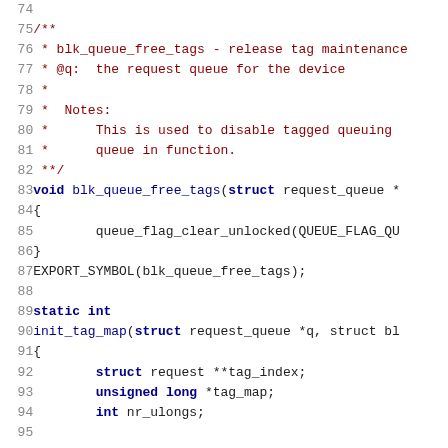Code listing lines 74-95: C kernel source code showing blk_queue_free_tags function and init_tag_map function beginning